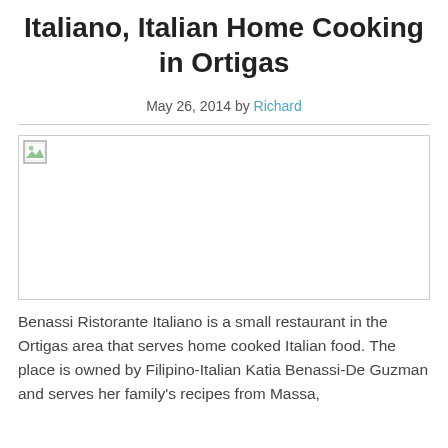Italiano, Italian Home Cooking in Ortigas
May 26, 2014 by Richard
[Figure (photo): Broken/unloaded image placeholder for the restaurant photo]
Benassi Ristorante Italiano is a small restaurant in the Ortigas area that serves home cooked Italian food. The place is owned by Filipino-Italian Katia Benassi-De Guzman and serves her family's recipes from Massa,